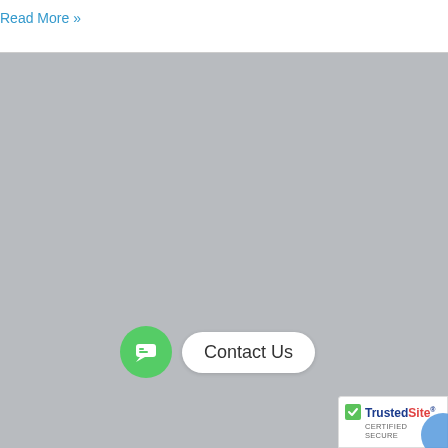Read More »
[Figure (other): Large gray placeholder area representing an image or content block]
Contact Us
[Figure (logo): TrustedSite Certified Secure badge with green checkmark and partial blue circle]